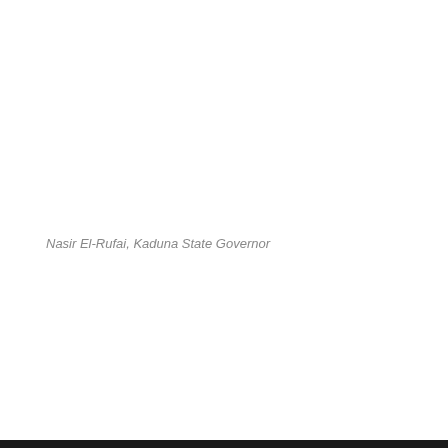Nasir El-Rufai, Kaduna State Governor